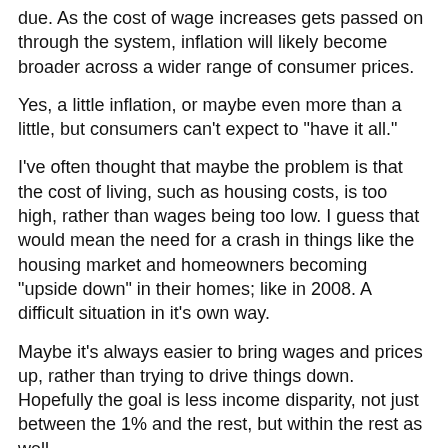due. As the cost of wage increases gets passed on through the system, inflation will likely become broader across a wider range of consumer prices.
Yes, a little inflation, or maybe even more than a little, but consumers can't expect to "have it all."
I've often thought that maybe the problem is that the cost of living, such as housing costs, is too high, rather than wages being too low. I guess that would mean the need for a crash in things like the housing market and homeowners becoming "upside down" in their homes; like in 2008. A difficult situation in it's own way.
Maybe it's always easier to bring wages and prices up, rather than trying to drive things down. Hopefully the goal is less income disparity, not just between the 1% and the rest, but within the rest as well.
As for the owners of business, some business does operate on a thin margin. Great accumulation of wealth is sometimes still needed as its the capital that is the business. It can be